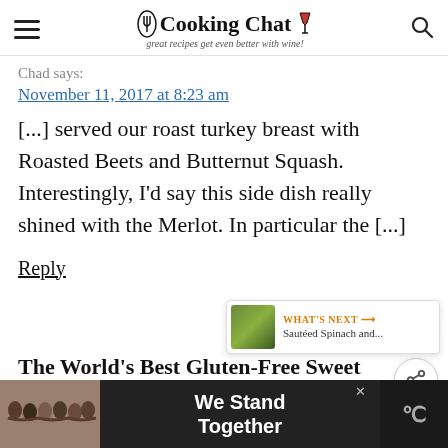Cooking Chat — great recipes get even better with wine!
Chad says:
November 11, 2017 at 8:23 am
[...] served our roast turkey breast with Roasted Beets and Butternut Squash. Interestingly, I'd say this side dish really shined with the Merlot. In particular the [...]
Reply
The World's Best Gluten-Free Sweet
[Figure (infographic): What's Next widget showing Sautéed Spinach and... with a thumbnail image]
[Figure (infographic): Advertisement banner: We Stand Together — group photo of people with arms around each other]
[Figure (infographic): Floating action buttons: heart/favorite button (teal) and share button (white)]